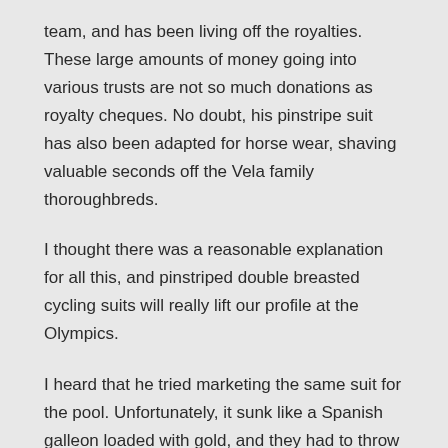team, and has been living off the royalties. These large amounts of money going into various trusts are not so much donations as royalty cheques. No doubt, his pinstripe suit has also been adapted for horse wear, shaving valuable seconds off the Vela family thoroughbreds.
I thought there was a reasonable explanation for all this, and pinstriped double breasted cycling suits will really lift our profile at the Olympics.
I heard that he tried marketing the same suit for the pool. Unfortunately, it sunk like a Spanish galleon loaded with gold, and they had to throw the swimmer a life buoy.
And now the Privileges Committee is going to decide if Winston's performance enhancing donations are perfectly legal.